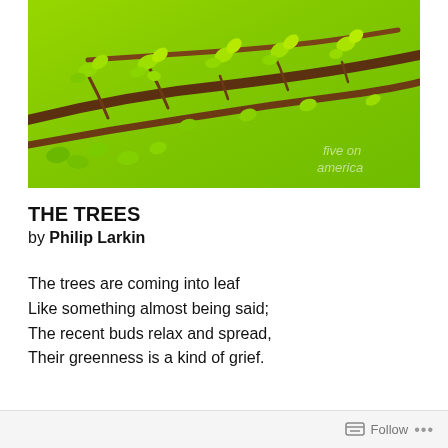[Figure (photo): Close-up photo of tree branches with fresh green spring leaves against a bright green background, watermark text partially visible in lower right corner]
THE TREES
by Philip Larkin
The trees are coming into leaf
Like something almost being said;
The recent buds relax and spread,
Their greenness is a kind of grief.
Follow